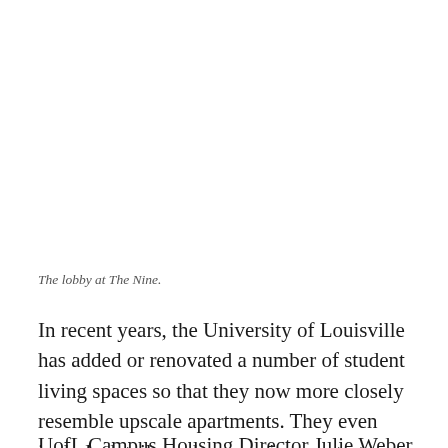The lobby at The Nine.
In recent years, the University of Louisville has added or renovated a number of student living spaces so that they now more closely resemble upscale apartments. They even include details such as granite countertops, and amenities such as fitness centers and pools.
UofL Campus Housing Director Julie Weber recently